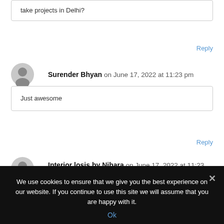take projects in Delhi?
Reply
Surender Bhyan on June 17, 2022 at 11:23 pm
Just awesome
Reply
Interior losis by Nihara on June 17, 2022 at 11:23 pm
We use cookies to ensure that we give you the best experience on our website. If you continue to use this site we will assume that you are happy with it.
Ok